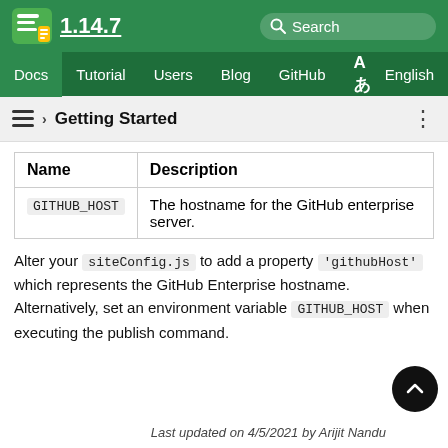1.14.7
Docs Tutorial Users Blog GitHub English
› Getting Started
| Name | Description |
| --- | --- |
| GITHUB_HOST | The hostname for the GitHub enterprise server. |
Alter your siteConfig.js to add a property 'githubHost' which represents the GitHub Enterprise hostname. Alternatively, set an environment variable GITHUB_HOST when executing the publish command.
Last updated on 4/5/2021 by Arijit Nandu